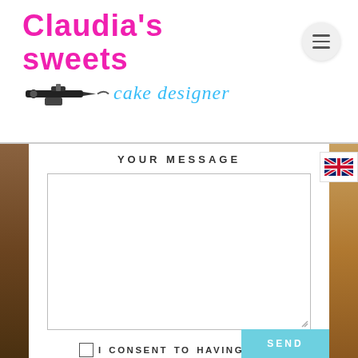[Figure (logo): Claudia's Sweets cake designer logo with airbrush graphic, pink cursive title and blue italic subtitle]
YOUR MESSAGE
[Figure (screenshot): Large empty textarea for user message input with resize handle]
I CONSENT TO HAVING THIS WEBSITE STORE MY SUBMITTED INFORMATION SO THEY CAN RESPOND MY INQUIRY.
[Figure (other): Send button in light blue]